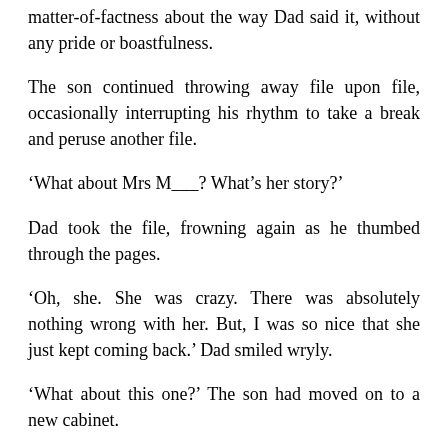matter-of-factness about the way Dad said it, without any pride or boastfulness.
The son continued throwing away file upon file, occasionally interrupting his rhythm to take a break and peruse another file.
‘What about Mrs M___? What’s her story?’
Dad took the file, frowning again as he thumbed through the pages.
‘Oh, she. She was crazy. There was absolutely nothing wrong with her. But, I was so nice that she just kept coming back.’ Dad smiled wryly.
‘What about this one?’ The son had moved on to a new cabinet.
‘In the… Mr R… Mr R… Oh, I re… he’d re… all. It…